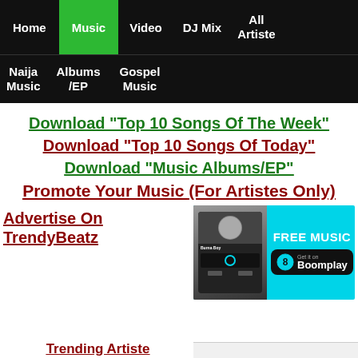Home | Music | Video | DJ Mix | All Artiste | Naija Music | Albums /EP | Gospel Music
Download "Top 10 Songs Of The Week"
Download "Top 10 Songs Of Today"
Download "Music Albums/EP"
Promote Your Music (For Artistes Only)
Advertise On TrendyBeatz
[Figure (screenshot): Boomplay music streaming app banner ad with 'FREE MUSIC - Get it on Boomplay' text and a music player screenshot showing Burna Boy]
Trending Artiste